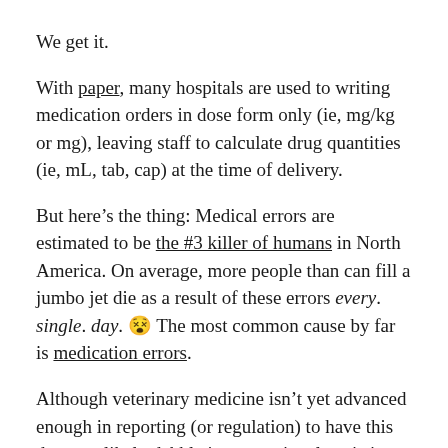We get it.
With paper, many hospitals are used to writing medication orders in dose form only (ie, mg/kg or mg), leaving staff to calculate drug quantities (ie, mL, tab, cap) at the time of delivery.
But here’s the thing: Medical errors are estimated to be the #3 killer of humans in North America. On average, more people than can fill a jumbo jet die as a result of these errors every. single. day. 😐 The most common cause by far is medication errors.
Although veterinary medicine isn’t yet advanced enough in reporting (or regulation) to have this data, we likely dabble in proportional statistics.
When we built Instinct, we thought a lot about